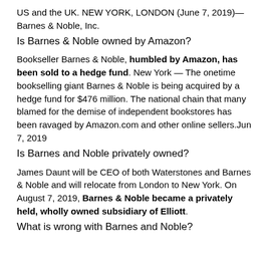US and the UK. NEW YORK, LONDON (June 7, 2019)—Barnes & Noble, Inc.
Is Barnes & Noble owned by Amazon?
Bookseller Barnes & Noble, humbled by Amazon, has been sold to a hedge fund. New York — The onetime bookselling giant Barnes & Noble is being acquired by a hedge fund for $476 million. The national chain that many blamed for the demise of independent bookstores has been ravaged by Amazon.com and other online sellers.Jun 7, 2019
Is Barnes and Noble privately owned?
James Daunt will be CEO of both Waterstones and Barnes & Noble and will relocate from London to New York. On August 7, 2019, Barnes & Noble became a privately held, wholly owned subsidiary of Elliott.
What is wrong with Barnes and Noble?